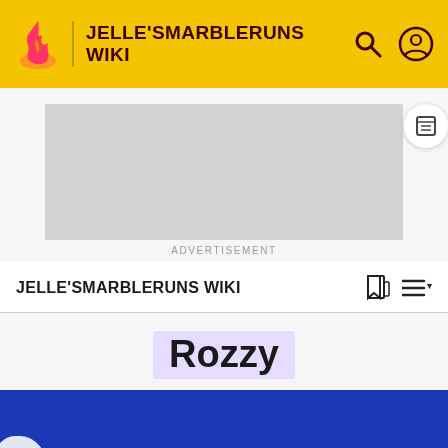JELLE'SMARBLERUNS WIKI
[Figure (screenshot): Advertisement placeholder box, grey rectangle]
ADVERTISEMENT
JELLE'SMARBLERUNS WIKI
Rozzy
[Figure (photo): Blue background image, partially visible white shape on left edge]